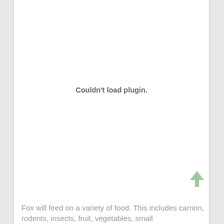[Figure (other): Plugin placeholder area showing 'Couldn't load plugin.' message in center of a white document page]
Fox will feed on a variety of food. This includes carrion, rodents, insects, fruit, vegetables, small